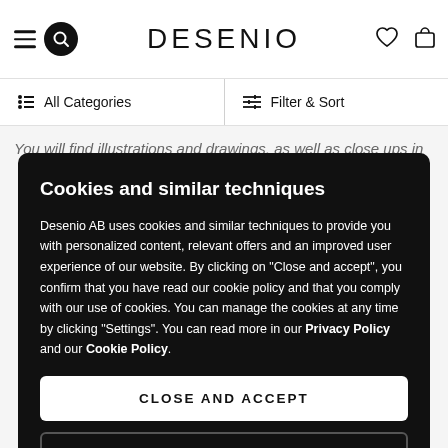DESENIO
All Categories
Filter & Sort
You will find illustrations and drawings, as well as close ups in
Cookies and similar techniques
Desenio AB uses cookies and similar techniques to provide you with personalized content, relevant offers and an improved user experience of our website. By clicking on "Close and accept", you confirm that you have read our cookie policy and that you comply with our use of cookies. You can manage the cookies at any time by clicking "Settings". You can read more in our Privacy Policy and our Cookie Policy.
CLOSE AND ACCEPT
SETTINGS